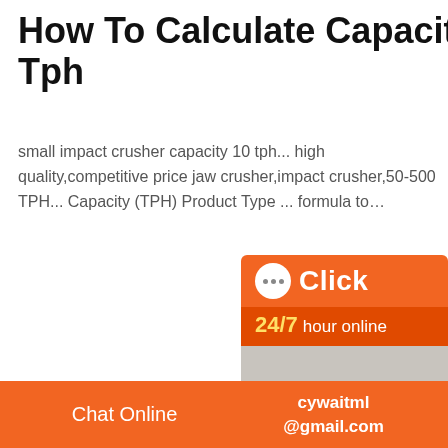How To Calculate Capacity In Tph
small impact crusher capacity 10 tph... high quality,competitive price jaw crusher,impact crusher,50-500 TPH... Capacity (TPH) Product Type ... formula to…
[Figure (infographic): Customer service chat widget with orange background, '24/7 hour online' text, photo of woman with headset, blue circle, 'Click to chat' button and 'Enquiry' section]
[Figure (photo): Construction or crushing site with rubble and wooden/concrete structures, blurred background]
Chat Online   cywaitml @gmail.com